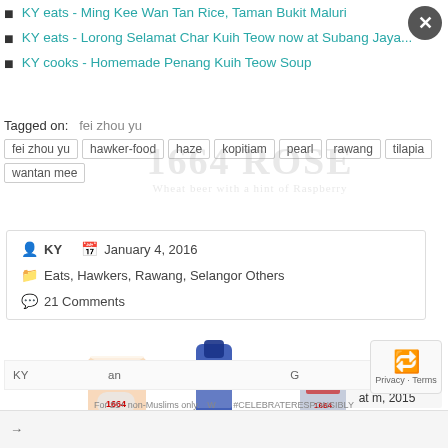KY eats - Ming Kee Wan Tan Rice, Taman Bukit Maluri
KY eats - Lorong Selamat Char Kuih Teow now at Subang Jaya...
KY cooks - Homemade Penang Kuih Teow Soup
Tagged on: fei zhou yu  hawker-food  haze  kopitiam  pearl  rawang  tilapia  wantan mee
KY   January 4, 2016
Eats, Hawkers, Rawang, Selangor Others
21 Comments
[Figure (photo): 1664 Rose beer advertisement showing a glass, bottle, and can of Kronenbourg 1664 Rose beer. Watermark text: 1664 ROSE, Wheat beer with a hint of Raspberry]
at m, 2015
KY  an  G
→
For 21+ non-Muslims only. #CELEBRATERESPONSIBLY